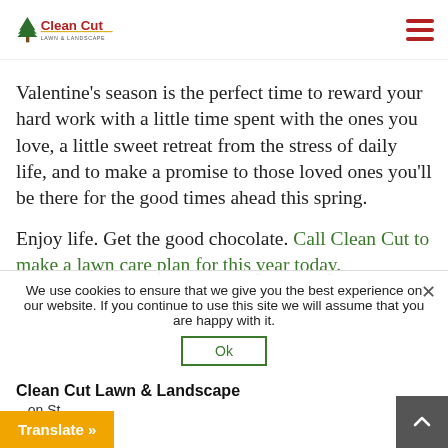Clean Cut Lawn & Landscape — navigation header with logo and hamburger menu
Valentine's season is the perfect time to reward your hard work with a little time spent with the ones you love, a little sweet retreat from the stress of daily life, and to make a promise to those loved ones you'll be there for the good times ahead this spring.
Enjoy life. Get the good chocolate. Call Clean Cut to make a lawn care plan for this year today.
We use cookies to ensure that we give you the best experience on our website. If you continue to use this site we will assume that you are happy with it.
Clean Cut Lawn & Landscape
...on St
...964-9759